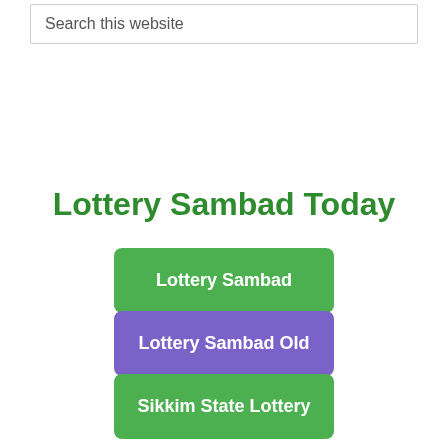Search this website
Lottery Sambad Today
Lottery Sambad
Lottery Sambad Old
Sikkim State Lottery